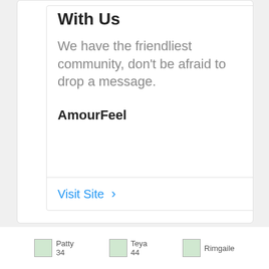With Us
We have the friendliest community, don't be afraid to drop a message.
AmourFeel
Visit Site >
Patty 34
Teya 44
Rimgaile